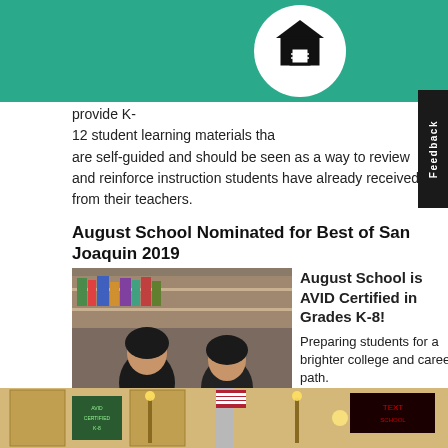[Figure (photo): Green banner with house/book icon at top of page]
provide K-12 student learning materials that are self-guided and should be seen as a way to review and reinforce instruction students have already received from their teachers.
August School Nominated for Best of San Joaquin 2019
[Figure (photo): Two students studying together at a desk in a classroom]
August School is AVID Certified in Grades K-8! Preparing students for a brighter college and career path.
[Figure (photo): Interior of a formal room with American flag and wall panels]